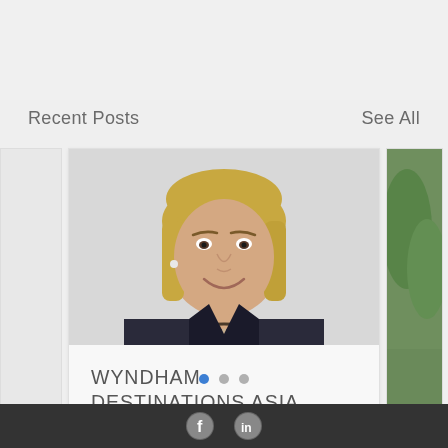Recent Posts
See All
[Figure (photo): Portrait photo of a middle-aged woman with blonde hair, wearing a black jacket and a beaded necklace, smiling]
WYNDHAM DESTINATIONS ASIA...
Views: 1  Comments: 0  Likes: (heart icon)
[Figure (other): Pagination dots: 3 dots, first (leftmost) is blue/active, second and third are grey]
Social media icons: Facebook and LinkedIn